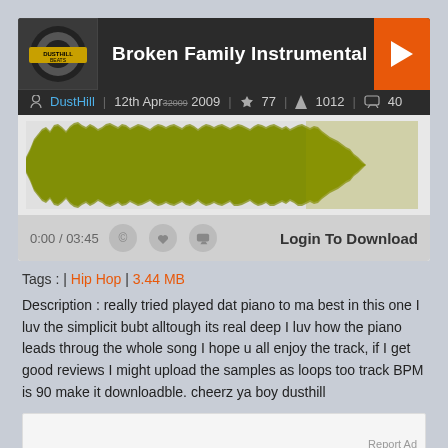Broken Family Instrumental
DustHill | 12th Apr 2009 | 77 | 1012 | 40
[Figure (other): Audio waveform visualization showing olive/yellow-green sound wave]
0:00 / 03:45  Login To Download
Tags : | Hip Hop | 3.44 MB
Description : really tried played dat piano to ma best in this one I luv the simplicit bubt alltough its real deep I luv how the piano leads throug the whole song I hope u all enjoy the track, if I get good reviews I might upload the samples as loops too track BPM is 90 make it downloadble. cheerz ya boy dusthill